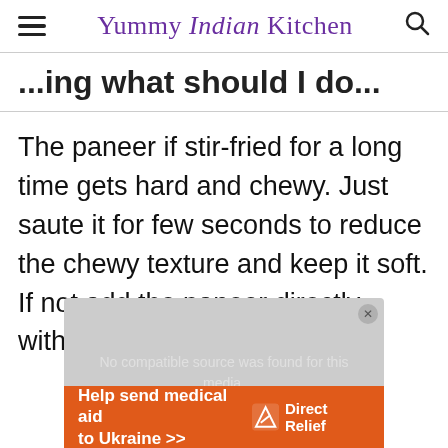Yummy Indian Kitchen
...ing what should I do...
The paneer if stir-fried for a long time gets hard and chewy. Just saute it for few seconds to reduce the chewy texture and keep it soft. If not add the paneer directly without stir-frying.
[Figure (other): Video player showing 'No compatible source was found for this media' message with a gray background, and a Direct Relief advertisement banner below reading 'Help send medical aid to Ukraine >>']